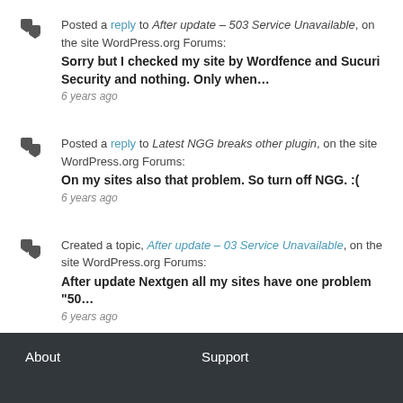Posted a reply to After update – 503 Service Unavailable, on the site WordPress.org Forums: Sorry but I checked my site by Wordfence and Sucuri Security and nothing. Only when… 6 years ago
Posted a reply to Latest NGG breaks other plugin, on the site WordPress.org Forums: On my sites also that problem. So turn off NGG. :( 6 years ago
Created a topic, After update – 03 Service Unavailable, on the site WordPress.org Forums: After update Nextgen all my sites have one problem "50… 6 years ago
About   Support